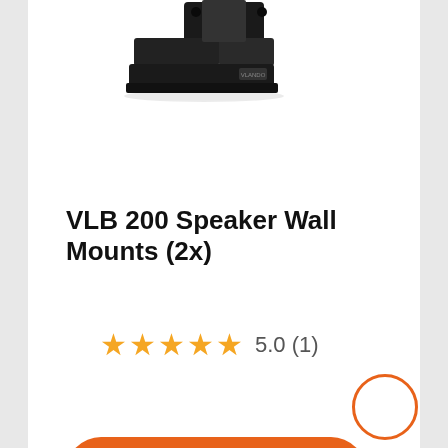[Figure (photo): Partial view of a black VLB 200 speaker wall mount bracket, showing the mounting hardware from above against white background.]
VLB 200 Speaker Wall Mounts (2x)
★★★★★ 5.0 (1)
View